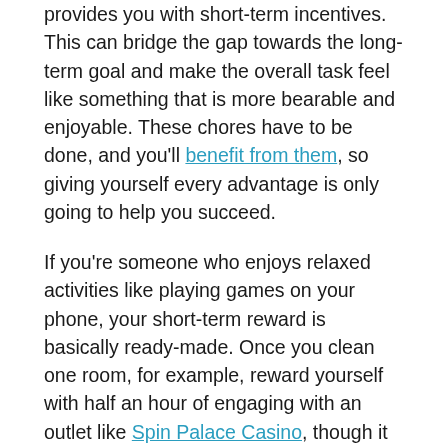provides you with short-term incentives. This can bridge the gap towards the long-term goal and make the overall task feel like something that is more bearable and enjoyable. These chores have to be done, and you'll benefit from them, so giving yourself every advantage is only going to help you succeed.
If you're someone who enjoys relaxed activities like playing games on your phone, your short-term reward is basically ready-made. Once you clean one room, for example, reward yourself with half an hour of engaging with an outlet like Spin Palace Casino, though it might be worth setting a timer to ensure that you stick to your schedule.
Exercise Apps and Features